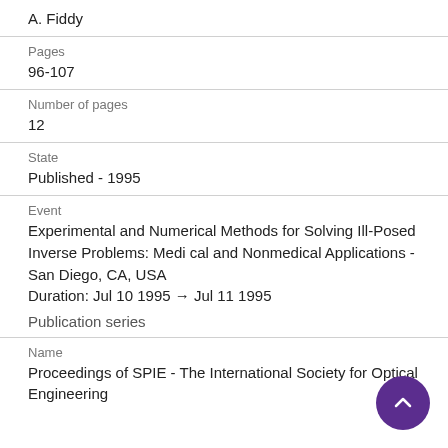A. Fiddy
Pages
96-107
Number of pages
12
State
Published - 1995
Event
Experimental and Numerical Methods for Solving Ill-Posed Inverse Problems: Medical and Nonmedical Applications - San Diego, CA, USA
Duration: Jul 10 1995 → Jul 11 1995
Publication series
Name
Proceedings of SPIE - The International Society for Optical Engineering